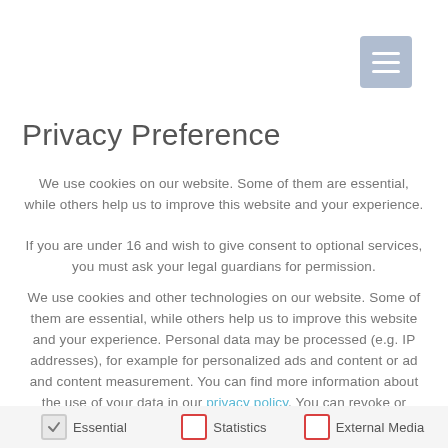[Figure (other): Hamburger menu icon button — light blue-grey square with three white horizontal lines]
Privacy Preference
We use cookies on our website. Some of them are essential, while others help us to improve this website and your experience.
If you are under 16 and wish to give consent to optional services, you must ask your legal guardians for permission.
We use cookies and other technologies on our website. Some of them are essential, while others help us to improve this website and your experience. Personal data may be processed (e.g. IP addresses), for example for personalized ads and content or ad and content measurement. You can find more information about the use of your data in our privacy policy. You can revoke or adjust your selection at any time under Settings
Essential   Statistics   External Media